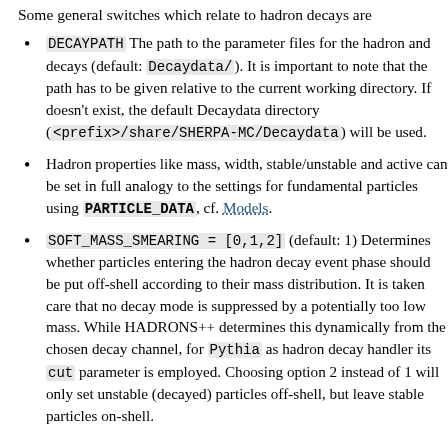Some general switches which relate to hadron decays are
DECAYPATH The path to the parameter files for the hadron and decays (default: Decaydata/). It is important to note that the path has to be given relative to the current working directory. If doesn't exist, the default Decaydata directory (<prefix>/share/SHERPA-MC/Decaydata) will be used.
Hadron properties like mass, width, stable/unstable and active can be set in full analogy to the settings for fundamental particles using PARTICLE_DATA, cf. Models.
SOFT_MASS_SMEARING = [0,1,2] (default: 1) Determines whether particles entering the hadron decay event phase should be put off-shell according to their mass distribution. It is taken care that no decay mode is suppressed by a potentially too low mass. While HADRONS++ determines this dynamically from the chosen decay channel, for Pythia as hadron decay handler its cut parameter is employed. Choosing option 2 instead of 1 will only set unstable (decayed) particles off-shell, but leave stable particles on-shell.